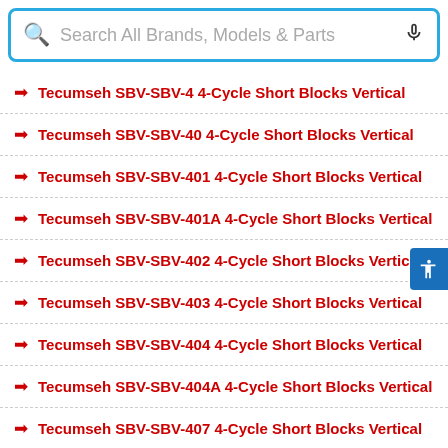[Figure (screenshot): Search bar with magnifier icon and text 'Search All Brands, Models & Parts' and microphone icon, outlined in blue]
Tecumseh SBV-SBV-4 4-Cycle Short Blocks Vertical
Tecumseh SBV-SBV-40 4-Cycle Short Blocks Vertical
Tecumseh SBV-SBV-401 4-Cycle Short Blocks Vertical
Tecumseh SBV-SBV-401A 4-Cycle Short Blocks Vertical
Tecumseh SBV-SBV-402 4-Cycle Short Blocks Vertical
Tecumseh SBV-SBV-403 4-Cycle Short Blocks Vertical
Tecumseh SBV-SBV-404 4-Cycle Short Blocks Vertical
Tecumseh SBV-SBV-404A 4-Cycle Short Blocks Vertical
Tecumseh SBV-SBV-407 4-Cycle Short Blocks Vertical
Tecumseh SBV-SBV-407A 4-Cycle Short Blocks Vertical
Tecumseh SBV-SBV-408 4-Cycle Short Blocks Vertical
Tecumseh SBV-SBV-408A 4-Cycle Short Blocks Vertical
Tecumseh SBV-SBV-409 4-Cycle Short Blocks Vertical